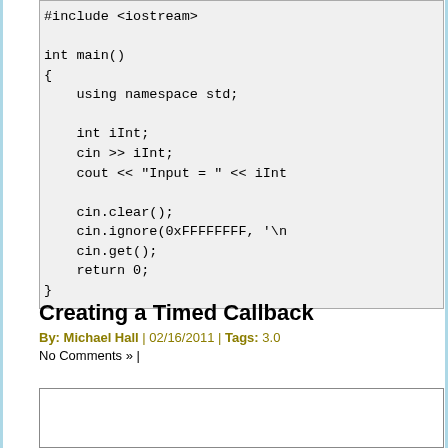[Figure (screenshot): C++ code snippet showing int main() function with cin/cout operations, cin.clear(), cin.ignore(), cin.get(), return 0 inside a code block with light gray background]
Creating a Timed Callback
By: Michael Hall | 02/16/2011 | Tags: 3.0 No Comments » |
[Figure (other): Empty white box below the article header]